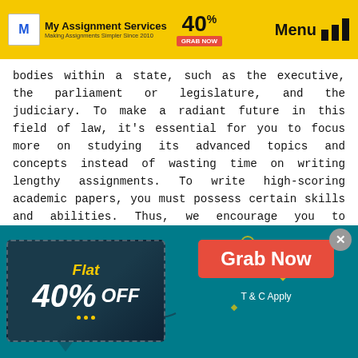My Assignment Services — Making Assignments Simpler Since 2010 | 40% OFF | Menu
bodies within a state, such as the executive, the parliament or legislature, and the judiciary. To make a radiant future in this field of law, it's essential for you to focus more on studying its advanced topics and concepts instead of wasting time on writing lengthy assignments. To write high-scoring academic papers, you must possess certain skills and abilities. Thus, we encourage you to concentrate on the things you are good at and leave your constitutional law assignment writing task to our experts. It's their long-standing fervour to draft assignments, research
[Figure (infographic): Promotional banner with teal background showing 'Flat 40% OFF' coupon and a red 'Grab Now' button with 'T & C Apply' text]